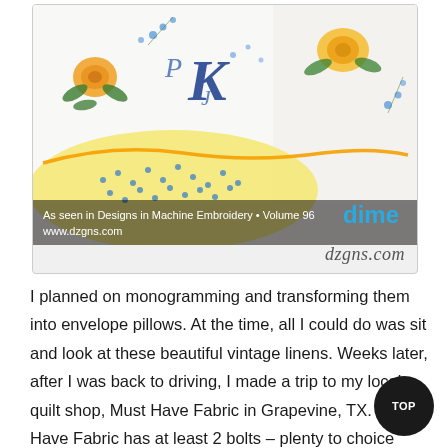[Figure (photo): Photo of embroidered vintage linens with a monogram letter K in blue script, floral embroidery in orange and green, and a small blue floral patterned fabric piece with orange crochet trim. Overlay text reads 'dime' in blue, 'As seen in Designs in Machine Embroidery • Volume 96', 'www.dzgns.com'. Watermark 'dzgns.com' in script below the image.]
I planned on monogramming and transforming them into envelope pillows. At the time, all I could do was sit and look at these beautiful vintage linens. Weeks later, after I was back to driving, I made a trip to my local quilt shop, Must Have Fabric in Grapevine, TX. Must Have Fabric has at least 2 bolts – plenty to choice from. I was on the hunt for 1930s,